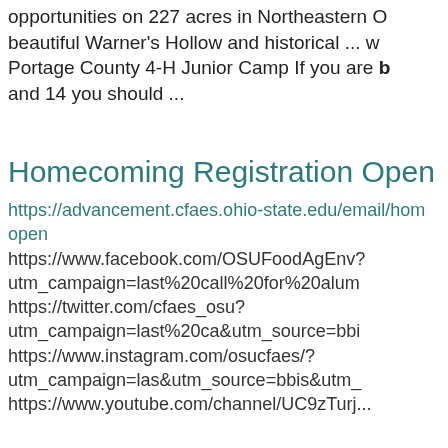opportunities on 227 acres in Northeastern O... beautiful Warner's Hollow and historical ... w... Portage County 4-H Junior Camp If you are b... and 14 you should ...
Homecoming Registration Open
https://advancement.cfaes.ohio-state.edu/email/hom... open
https://www.facebook.com/OSUFoodAgEnv?... utm_campaign=last%20call%20for%20alum... https://twitter.com/cfaes_osu? utm_campaign=last%20ca&utm_source=bbi... https://www.instagram.com/osucfaes/? utm_campaign=las&utm_source=bbis&utm_... https://www.youtube.com/channel/UC9zTurj...